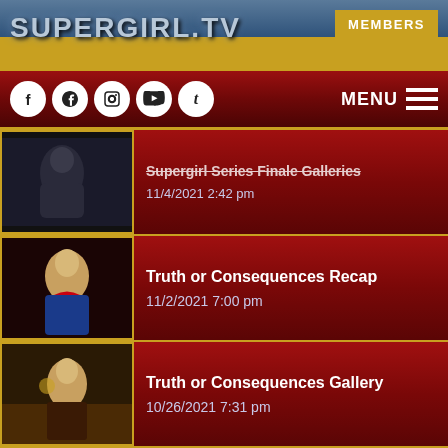SUPERGIRL.TV | MEMBERS
Social icons: Facebook, Twitter, Instagram, YouTube, Tumblr | MENU
Supergirl Series Finale Galleries — 11/4/2021 2:42 pm
Truth or Consequences Recap — 11/2/2021 7:00 pm
Truth or Consequences Gallery — 10/26/2021 7:31 pm
I Believe In A Thing Called Love Recap — 10/26/2021 7:00 pm
The Series Finale Synopses for Supergirl